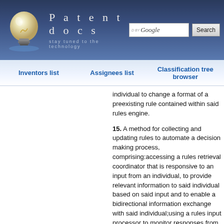[Figure (screenshot): Patentdocs website header with lightbulb logo, site title 'Patentdocs', tagline 'stay tuned to the technology', Google search box, and Search button]
Inventors list   Assignees list   Classification tree browser
individual to change a format of a preexisting rule contained within said rules engine.
15. A method for collecting and updating rules to automate a decision making process, comprising:accessing a rules retrieval coordinator that is responsive to an input from an individual, to provide relevant information to said individual based on said input and to enable a bidirectional information exchange with said individual;using a rules input processor to monitor responses from